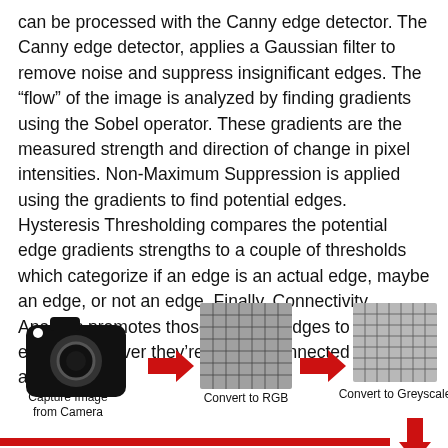can be processed with the Canny edge detector. The Canny edge detector, applies a Gaussian filter to remove noise and suppress insignificant edges. The “flow” of the image is analyzed by finding gradients using the Sobel operator. These gradients are the measured strength and direction of change in pixel intensities. Non-Maximum Suppression is applied using the gradients to find potential edges. Hysteresis Thresholding compares the potential edge gradients strengths to a couple of thresholds which categorize if an edge is an actual edge, maybe an edge, or not an edge. Finally, Connectivity Analysis promotes those “maybe” edges to actual edges whenever they’re directly connected to an actual edge.
[Figure (infographic): Three-step infographic showing image processing pipeline: (1) Camera icon labeled 'Capture Image from Camera', red arrow pointing right, (2) RGB grid image labeled 'Convert to RGB', red arrow pointing right, (3) Greyscale grid image labeled 'Convert to Greyscale', then a red arrow pointing down at the bottom right.]